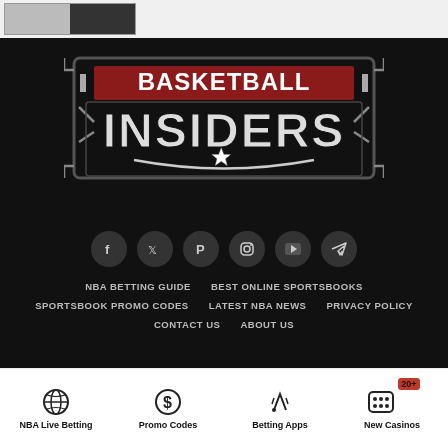[Figure (photo): Partial view of a sports-related image at the top of the page]
[Figure (logo): Basketball Insiders logo with red banner reading BASKETBALL and large silver INSIDERS text on dark background with star emblem]
[Figure (infographic): Row of six circular social media icons: Facebook, Twitter, Pinterest, Instagram, YouTube, Telegram]
NBA BETTING GUIDE
BEST ONLINE SPORTSBOOKS
SPORTSBOOK PROMO CODES
LATEST NBA NEWS
PRIVACY POLICY
CONTACT US
ABOUT US
NBA Live Betting
Promo Codes
Betting Apps
New Casinos
20+